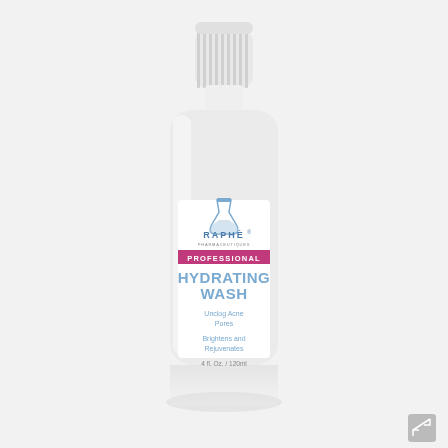[Figure (photo): Product photo of Raphè Pharmaceutiques Hydrating Wash bottle. White cylindrical bottle with white ribbed cap. Label shows logo, pink 'PROFESSIONAL' banner, blue text 'HYDRATING WASH', subtext 'Unclog Acne Pores', 'Brightens and Rejuvenates', '4 fl. Oz. / 120ml'. Bottle has a subtle reflection beneath it.]